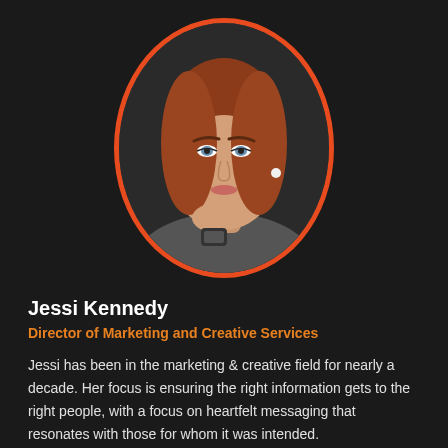[Figure (photo): Portrait photo of Jessi Kennedy, a woman with long reddish-brown hair, blue eyes, wearing a gray top and smart watch, posing with hand near chin, displayed inside an oval frame with orange border on dark background.]
Jessi Kennedy
Director of Marketing and Creative Services
Jessi has been in the marketing & creative field for nearly a decade. Her focus is ensuring the right information gets to the right people, with a focus on heartfelt messaging that resonates with those for whom it was intended.